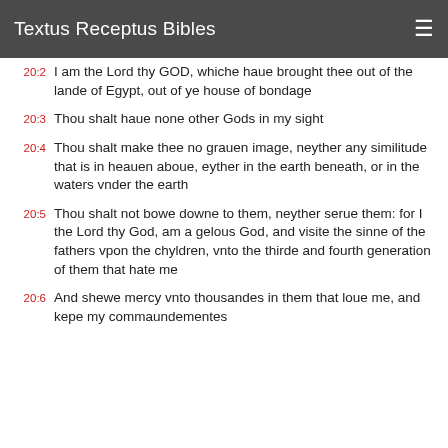Textus Receptus Bibles
20:2 I am the Lord thy GOD, whiche haue brought thee out of the lande of Egypt, out of ye house of bondage
20:3 Thou shalt haue none other Gods in my sight
20:4 Thou shalt make thee no grauen image, neyther any similitude that is in heauen aboue, eyther in the earth beneath, or in the waters vnder the earth
20:5 Thou shalt not bowe downe to them, neyther serue them: for I the Lord thy God, am a gelous God, and visite the sinne of the fathers vpon the chyldren, vnto the thirde and fourth generation of them that hate me
20:6 And shewe mercy vnto thousandes in them that loue me, and kepe my commaundementes